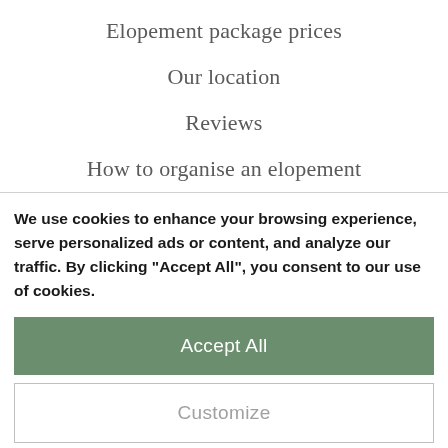Elopement package prices
Our location
Reviews
How to organise an elopement
We use cookies to enhance your browsing experience, serve personalized ads or content, and analyze our traffic. By clicking "Accept All", you consent to our use of cookies.
Accept All
Customize
Reject All